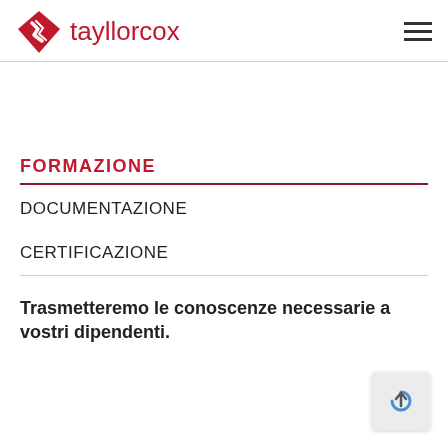tayllorcox
FORMAZIONE
DOCUMENTAZIONE
CERTIFICAZIONE
Trasmetteremo le conoscenze necessarie a vostri dipendenti.